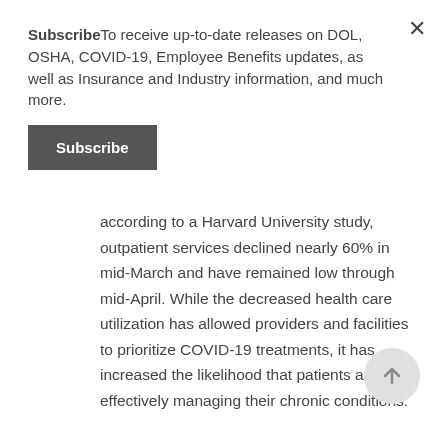SubscribeTo receive up-to-date releases on DOL, OSHA, COVID-19, Employee Benefits updates, as well as Insurance and Industry information, and much more.
Subscribe
according to a Harvard University study, outpatient services declined nearly 60% in mid-March and have remained low through mid-April. While the decreased health care utilization has allowed providers and facilities to prioritize COVID-19 treatments, it has increased the likelihood that patients aren't effectively managing their chronic conditions.